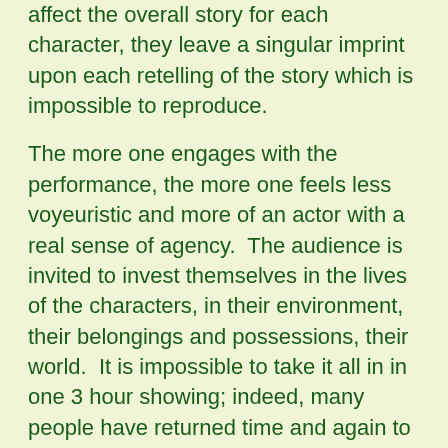affect the overall story for each character, they leave a singular imprint upon each retelling of the story which is impossible to reproduce.
The more one engages with the performance, the more one feels less voyeuristic and more of an actor with a real sense of agency.  The audience is invited to invest themselves in the lives of the characters, in their environment, their belongings and possessions, their world.  It is impossible to take it all in in one 3 hour showing; indeed, many people have returned time and again to re-experience Temple Studio's pocket universe; to discover new characters, follow unfinished threads from a previous showing, tie up loose ends, uncover hidden secrets, or simply just to forget the outside world for a while.  It's not for everyone – the freedom to choose and be autonomous can be deeply unsettling – and The Drowned Man offers just that slightly off-kilter